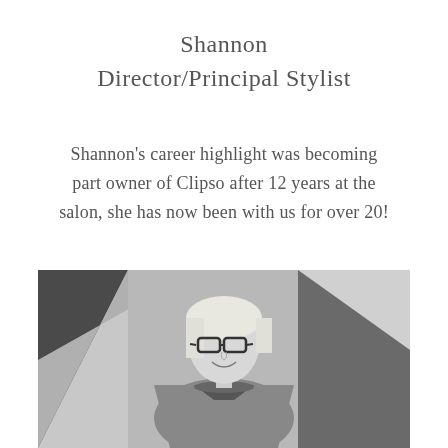Shannon
Director/Principal Stylist
Shannon's career highlight was becoming part owner of Clipso after 12 years at the salon, she has now been with us for over 20!
[Figure (photo): Black and white portrait photo of Shannon, a woman with blonde hair and glasses, smiling, wearing a silky top with lace neckline, standing in front of a geometric patterned background with triangular shapes.]